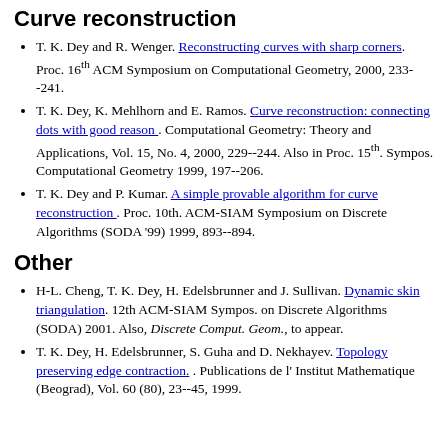Curve reconstruction
T. K. Dey and R. Wenger. Reconstructing curves with sharp corners. Proc. 16th ACM Symposium on Computational Geometry, 2000, 233--241.
T. K. Dey, K. Mehlhorn and E. Ramos. Curve reconstruction: connecting dots with good reason. Computational Geometry: Theory and Applications, Vol. 15, No. 4, 2000, 229--244. Also in Proc. 15th. Sympos. Computational Geometry 1999, 197--206.
T. K. Dey and P. Kumar. A simple provable algorithm for curve reconstruction. Proc. 10th. ACM-SIAM Symposium on Discrete Algorithms (SODA '99) 1999, 893--894.
Other
H-L. Cheng, T. K. Dey, H. Edelsbrunner and J. Sullivan. Dynamic skin triangulation. 12th ACM-SIAM Sympos. on Discrete Algorithms (SODA) 2001. Also, Discrete Comput. Geom., to appear.
T. K. Dey, H. Edelsbrunner, S. Guha and D. Nekhayev. Topology preserving edge contraction. Publications de l' Institut Mathematique (Beograd), Vol. 60 (80), 23--45, 1999.